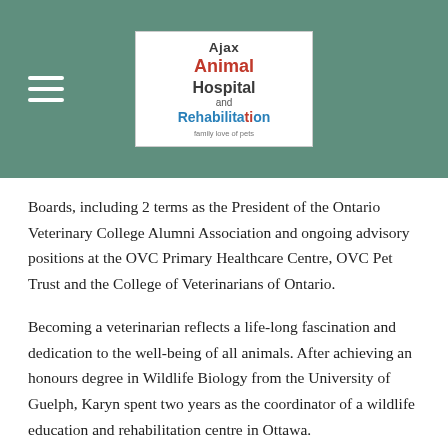[Figure (logo): Ajax Animal Hospital and Rehabilitation logo in white box, with red and blue text on teal header bar background]
Boards, including 2 terms as the President of the Ontario Veterinary College Alumni Association and ongoing advisory positions at the OVC Primary Healthcare Centre, OVC Pet Trust and the College of Veterinarians of Ontario.
Becoming a veterinarian reflects a life-long fascination and dedication to the well-being of all animals. After achieving an honours degree in Wildlife Biology from the University of Guelph, Karyn spent two years as the coordinator of a wildlife education and rehabilitation centre in Ottawa.
During her time at OVC, she pursued her special interests in Pain Control and Anesthesia, Soft Tissue Surgery and Exotic/wild animal medicine. Her dedication to providing dental care for pets